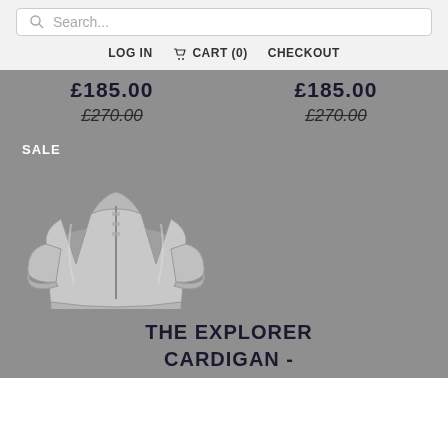Search...
LOG IN   CART (0)   CHECKOUT
£185.00
£270.00
£185.00
£270.00
[Figure (photo): Grey cardigan jacket with hood and zipper, displayed flat on grey background. SALE badge overlay in top left.]
THE EXPLORER CARDIGAN - MID GREY
£185.00